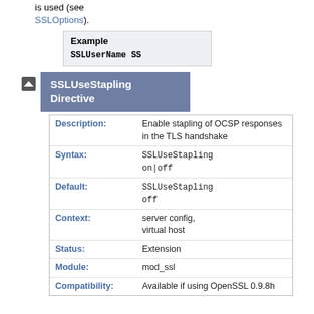is used (see SSLOptions).
| Example | SSLUserName SS |
SSLUseStapling Directive
| Description: | Enable stapling of OCSP responses in the TLS handshake |
| Syntax: | SSLUseStapling on|off |
| Default: | SSLUseStapling off |
| Context: | server config, virtual host |
| Status: | Extension |
| Module: | mod_ssl |
| Compatibility: | Available if using OpenSSL 0.9.8h |